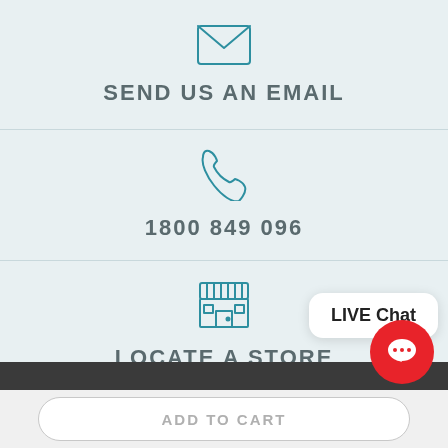[Figure (illustration): Envelope/email icon in teal outline style]
SEND US AN EMAIL
[Figure (illustration): Phone/handset icon in teal outline style]
1800 849 096
[Figure (illustration): Store/shop front icon in teal outline style]
LOCATE A STORE
LIVE Chat
ADD TO CART